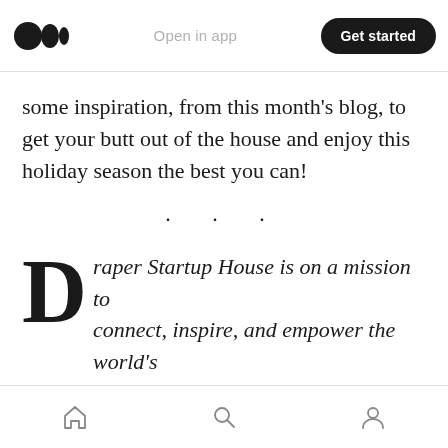Open in app | Get started
some inspiration, from this month's blog, to get your butt out of the house and enjoy this holiday season the best you can!
· · ·
Draper Startup House is on a mission to connect, inspire, and empower the world's entrepreneurs, small businesses, and remote workers to be successful. We provide flexible private office, coworking, podcast, and event space available to book by the hour, day, or month. In addition, we
Home | Search | Profile